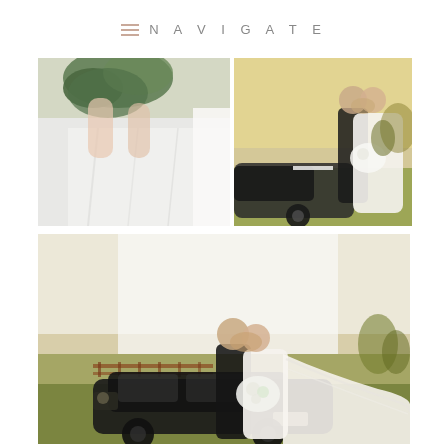NAVIGATE
[Figure (photo): Close-up of bride in white wedding dress holding a green floral bouquet, outdoors with a soft blurred background of fields]
[Figure (photo): Bride and groom kissing near a vintage black car outdoors with warm golden light and green fields in background]
[Figure (photo): Bride and groom kissing in front of a vintage black classic car at sunset, bride's white wedding dress veil flowing in wind, rural landscape background]